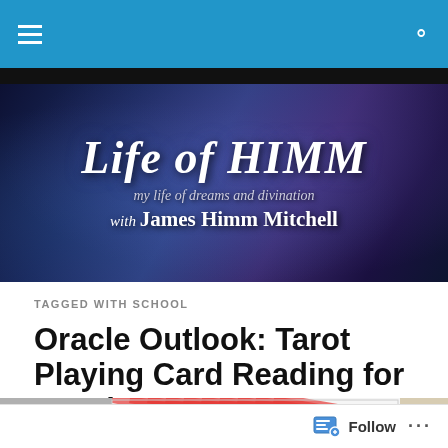Life of HIMM — my life of dreams and divination with James Himm Mitchell
[Figure (illustration): Blog banner header image with dark blue/purple cosmic background. Text reads: 'Life of HIMM' in large italic serif font, 'my life of dreams and divination' in smaller italic, 'with James Himm Mitchell' in bold serif.]
TAGGED WITH SCHOOL
Oracle Outlook: Tarot Playing Card Reading for March 6-12, 2017
[Figure (photo): Partial photo of playing cards with red and white diagonal stripe pattern, partially cropped at bottom of page.]
Follow ...